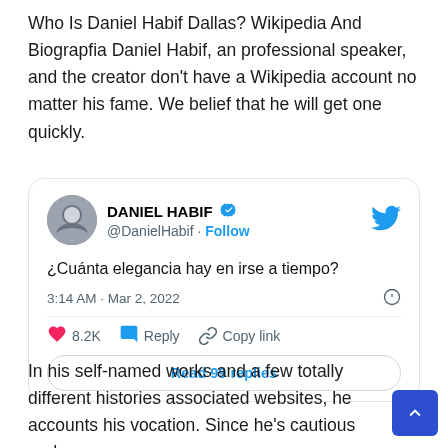Who Is Daniel Habif Dallas? Wikipedia And Biograpfia Daniel Habif, an professional speaker, and the creator don't have a Wikipedia account no matter his fame. We belief that he will get one quickly.
[Figure (screenshot): Screenshot of a Twitter/X post by DANIEL HABIF (@DanielHabif). Tweet text: '¿Cuánta elegancia hay en irse a tiempo?' Posted at 3:14 AM · Mar 2, 2022. Shows 8.2K likes, Reply, and Copy link actions. A 'Read 99 replies' button is shown at the bottom.]
In his self-named works and a few totally different histories associated websites, he accounts his vocation. Since he's cautious and